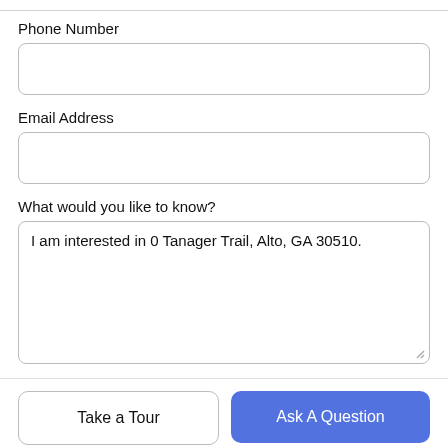Phone Number
Email Address
What would you like to know?
I am interested in 0 Tanager Trail, Alto, GA 30510.
Take a Tour
Ask A Question